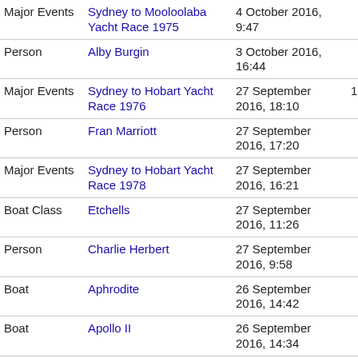| Category | Name | Date | Views |
| --- | --- | --- | --- |
| Major Events | Sydney to Mooloolaba Yacht Race 1975 | 4 October 2016, 9:47 | 7,877 |
| Person | Alby Burgin | 3 October 2016, 16:44 | 2,496 |
| Major Events | Sydney to Hobart Yacht Race 1976 | 27 September 2016, 18:10 | 10,070 |
| Person | Fran Marriott | 27 September 2016, 17:20 | 5,439 |
| Major Events | Sydney to Hobart Yacht Race 1978 | 27 September 2016, 16:21 | 2,835 |
| Boat Class | Etchells | 27 September 2016, 11:26 | 7,013 |
| Person | Charlie Herbert | 27 September 2016, 9:58 | 3,904 |
| Boat | Aphrodite | 26 September 2016, 14:42 | 1,459 |
| Boat | Apollo II | 26 September 2016, 14:34 | 5,898 |
| Boat Class | 6 Metre | 26 September 2016, 12:23 | 1,460 |
| Person | Gavin Jones | 22 September 2016, 14:10 | 1,089 |
| Boat Class | 16ft Skiffs | 22 September 2016, 13:47 | 834 |